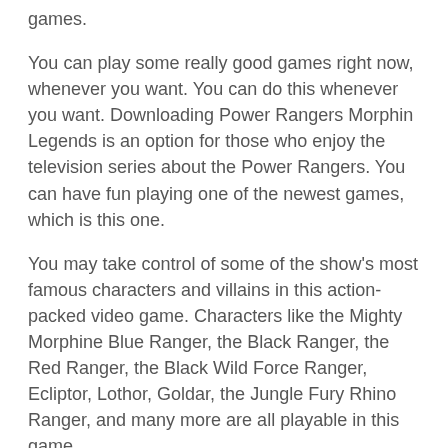games.
You can play some really good games right now, whenever you want. You can do this whenever you want. Downloading Power Rangers Morphin Legends is an option for those who enjoy the television series about the Power Rangers. You can have fun playing one of the newest games, which is this one.
You may take control of some of the show's most famous characters and villains in this action-packed video game. Characters like the Mighty Morphine Blue Ranger, the Black Ranger, the Red Ranger, the Black Wild Force Ranger, Ecliptor, Lothor, Goldar, the Jungle Fury Rhino Ranger, and many more are all playable in this game.
You can make use of each one's individual abilities and powers throughout the course of combat. Regarding combat, the Campaign mode features a number of different levels for you to play through and enjoy. Not only